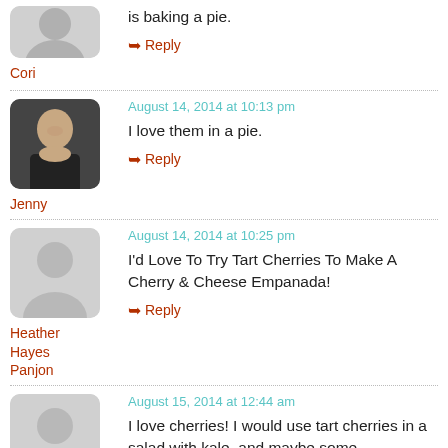is baking a pie.
Reply
Cori
August 14, 2014 at 10:13 pm
I love them in a pie.
Reply
Jenny
August 14, 2014 at 10:25 pm
I'd Love To Try Tart Cherries To Make A Cherry & Cheese Empanada!
Reply
Heather Hayes Panjon
August 15, 2014 at 12:44 am
I love cherries! I would use tart cherries in a salad with kale, and maybe some